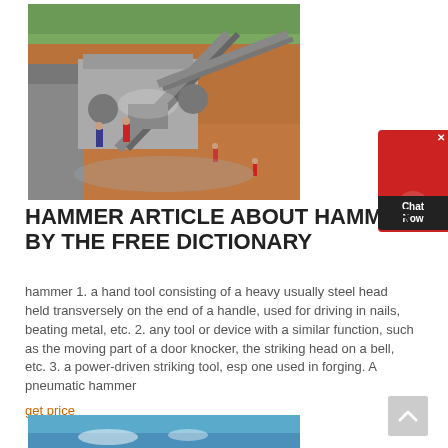[Figure (photo): Aerial/ground-level view of a large industrial mining or crushing plant facility with conveyor belts and machinery on red/orange dirt ground, with green trees in background and workers visible]
HAMMER ARTICLE ABOUT HAMMER BY THE FREE DICTIONARY
hammer 1. a hand tool consisting of a heavy usually steel head held transversely on the end of a handle, used for driving in nails, beating metal, etc. 2. any tool or device with a similar function, such as the moving part of a door knocker, the striking head on a bell, etc. 3. a power-driven striking tool, esp one used in forging. A pneumatic hammer
get price
[Figure (photo): Bottom portion of another photo, appears to show blue sky and possibly machinery or industrial equipment]